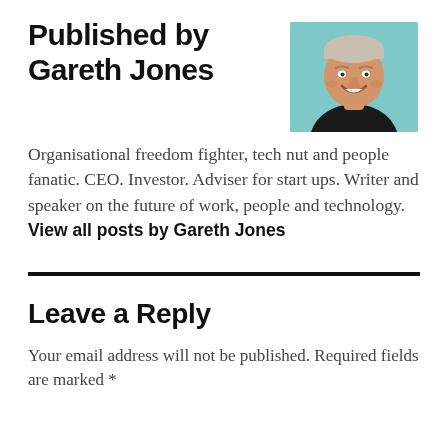Published by Gareth Jones
[Figure (photo): Headshot photo of Gareth Jones, a smiling middle-aged man with short light hair, wearing a dark shirt, against a teal/light blue background]
Organisational freedom fighter, tech nut and people fanatic. CEO. Investor. Adviser for start ups. Writer and speaker on the future of work, people and technology. View all posts by Gareth Jones
Leave a Reply
Your email address will not be published. Required fields are marked *